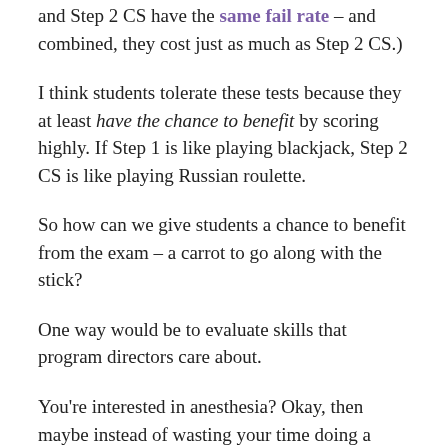and Step 2 CS have the same fail rate – and combined, they cost just as much as Step 2 CS.)
I think students tolerate these tests because they at least have the chance to benefit by scoring highly. If Step 1 is like playing blackjack, Step 2 CS is like playing Russian roulette.
So how can we give students a chance to benefit from the exam – a carrot to go along with the stick?
One way would be to evaluate skills that program directors care about.
You're interested in anesthesia? Okay, then maybe instead of wasting your time doing a contrived 15 minute office encounter for a standardized patient